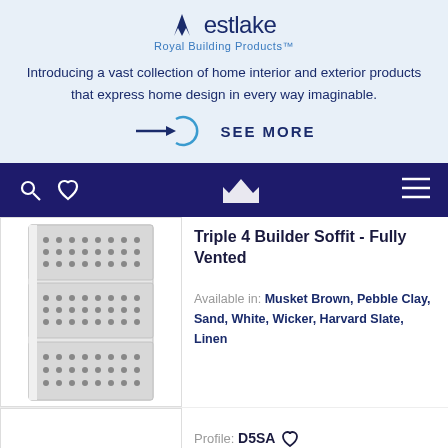[Figure (logo): Westlake Royal Building Products logo with crown W mark and blue text]
Introducing a vast collection of home interior and exterior products that express home design in every way imaginable.
[Figure (other): SEE MORE button with arrow and circular arc icon]
[Figure (other): Dark navy navigation bar with search icon, heart icon, crown/house logo, and hamburger menu]
[Figure (other): Product image of Triple 4 Builder Soffit - Fully Vented panel, white/grey with perforations]
Triple 4 Builder Soffit - Fully Vented
Available in: Musket Brown, Pebble Clay, Sand, White, Wicker, Harvard Slate, Linen
Profile: D5SA